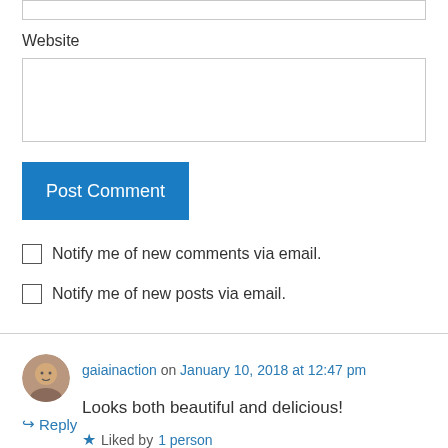Website
Post Comment
Notify me of new comments via email.
Notify me of new posts via email.
gaiainaction on January 10, 2018 at 12:47 pm
Looks both beautiful and delicious!
Liked by 1 person
Reply